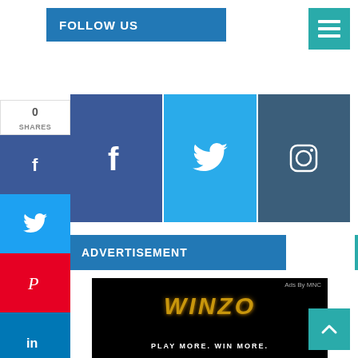FOLLOW US
[Figure (infographic): Social media follow buttons: Facebook, Twitter, Instagram icons in colored boxes]
[Figure (infographic): Left sidebar social sharing buttons: shares count, Facebook, Twitter, Pinterest, LinkedIn, Email, Print]
ADVERTISEMENT
[Figure (infographic): WinZo advertisement: black background with gold WINZO logo and text PLAY MORE. WIN MORE. with Ads By MNC label]
[Figure (other): Hamburger menu icon in teal square, top right corner]
[Figure (other): Back to top arrow button in teal square, bottom right corner]